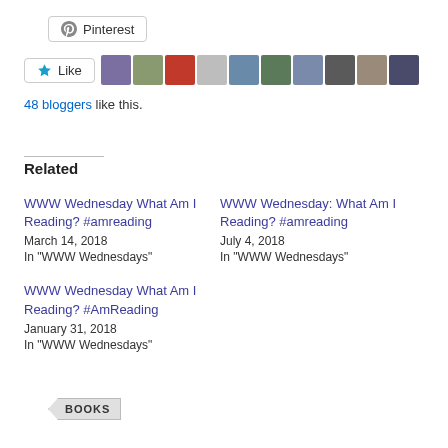[Figure (screenshot): Pinterest share button]
[Figure (screenshot): Like button with star icon and row of 10 blogger avatars]
48 bloggers like this.
Related
WWW Wednesday What Am I Reading? #amreading
March 14, 2018
In "WWW Wednesdays"
WWW Wednesday: What Am I Reading? #amreading
July 4, 2018
In "WWW Wednesdays"
WWW Wednesday What Am I Reading? #AmReading
January 31, 2018
In "WWW Wednesdays"
BOOKS